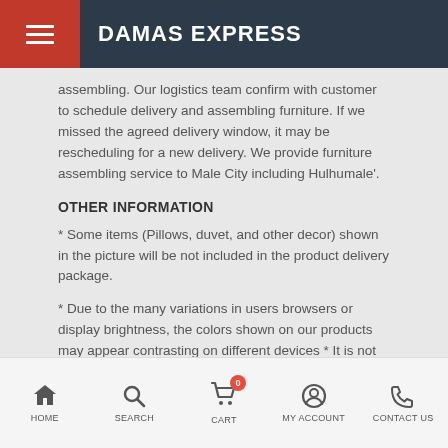DAMAS EXPRESS
assembling. Our logistics team confirm with customer to schedule delivery and assembling furniture. If we missed the agreed delivery window, it may be rescheduling for a new delivery. We provide furniture assembling service to Male City including Hulhumale'.
OTHER INFORMATION
* Some items (Pillows, duvet, and other decor) shown in the picture will be not included in the product delivery package.
* Due to the many variations in users browsers or display brightness, the colors shown on our products may appear contrasting on different devices * It is not possible to guarantee that the material or fabric colors on our online stores product pictures will appear the same on all devices.
HOME  SEARCH  CART  MY ACCOUNT  CONTACT US